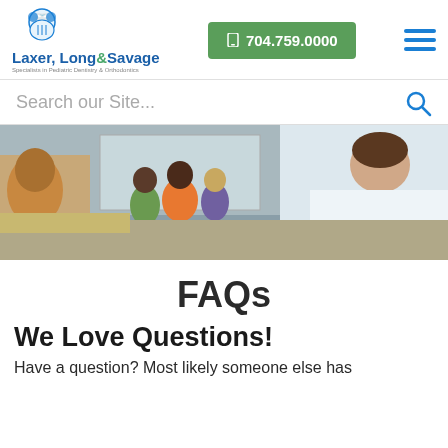[Figure (logo): Laxer, Long & Savage dental logo with tooth icon, blue and green colors, tagline: Specialists in Pediatric Dentistry & Orthodontics]
📱 704.759.0000
[Figure (other): Hamburger menu icon with three horizontal blue lines]
Search our Site...
[Figure (photo): A dentist in a white coat bending over to show three young children something, with a Scooby-Doo stuffed animal and classroom setting visible in background]
FAQs
We Love Questions!
Have a question? Most likely someone else has